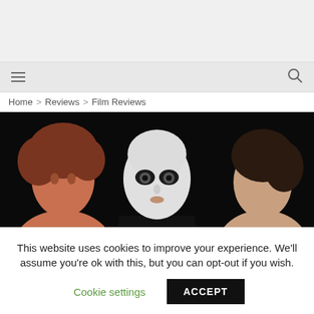≡  🔍
Home > Reviews > Film Reviews
[Figure (photo): Film still showing three people against a dark background: a person with curly red hair on the left, a central figure with white face paint wearing a black garment, and a person with dark hair on the right.]
LUMINOUS PROCURESS
This website uses cookies to improve your experience. We'll assume you're ok with this, but you can opt-out if you wish.
Cookie settings   ACCEPT